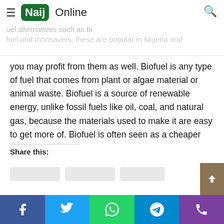Naij Online — fuel alternatives such as biofuel and monsavers; these are popular in Nigeria and
you may profit from them as well. Biofuel is any type of fuel that comes from plant or algae material or animal waste. Biofuel is a source of renewable energy, unlike fossil fuels like oil, coal, and natural gas, because the materials used to make it are easy to get more of. Biofuel is often seen as a cheaper and less harmful alternative to petroleum and other fossil fuels, especially since the price of petroleum is going up and more people are worried about how fossil fuels contribute to global warming.
Share this:
Facebook | Twitter | WhatsApp | Telegram | Phone